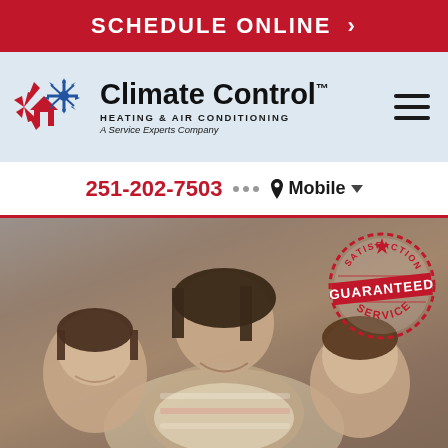SCHEDULE ONLINE >
[Figure (logo): Climate Control Heating & Air Conditioning logo with red and blue house/flame/snowflake icon]
Climate Control™ HEATING & AIR CONDITIONING A Service Experts Company
251-202-7503 ••• 📍 Mobile ∨
[Figure (photo): A smiling mother and two children looking at a glowing light source, with a Guaranteed Service badge stamp overlaid in the top right corner]